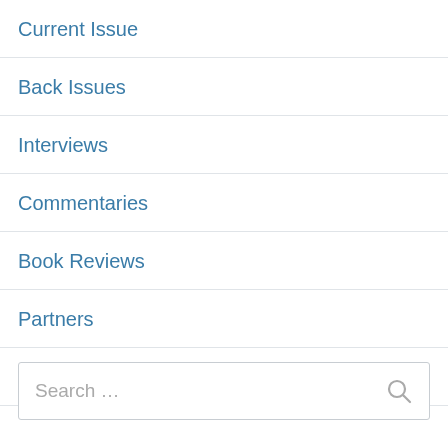Current Issue
Back Issues
Interviews
Commentaries
Book Reviews
Partners
Indexed/Abstr. in
Search …